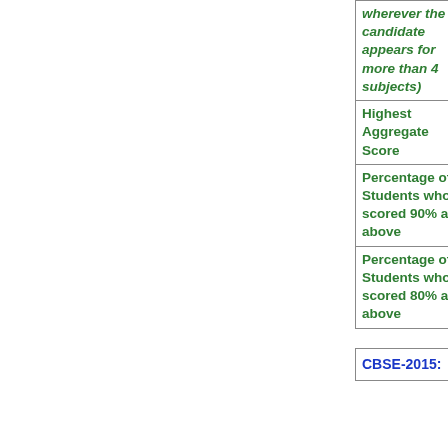| Metric | Value |
| --- | --- |
| wherever the candidate appears for more than 4 subjects) |  |
| Highest Aggregate Score | 85.8 |
| Percentage of Students who scored 90% and above | 0.0 |
| Percentage of Students who scored 80% and above | 4.0 |
| CBSE-2015: | CBSE Exam |
| --- | --- |